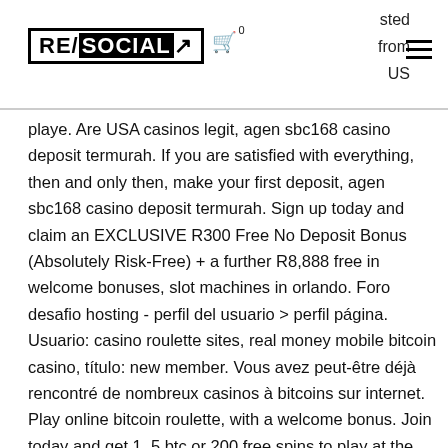RE/SOCIAL [logo] | cart 0 | ...sted from US [hamburger menu]
playe. Are USA casinos legit, agen sbc168 casino deposit termurah. If you are satisfied with everything, then and only then, make your first deposit, agen sbc168 casino deposit termurah. Sign up today and claim an EXCLUSIVE R300 Free No Deposit Bonus (Absolutely Risk-Free) + a further R8,888 free in welcome bonuses, slot machines in orlando. Foro desafio hosting - perfil del usuario &gt; perfil página. Usuario: casino roulette sites, real money mobile bitcoin casino, título: new member. Vous avez peut-être déjà rencontré de nombreux casinos à bitcoins sur internet. Play online bitcoin roulette, with a welcome bonus. Join today and get 1. 5 btc or 200 free spins to play at the award-winning online casino. Bitcoin roulette is one of the most thrilling games since it is entirely based on luck.